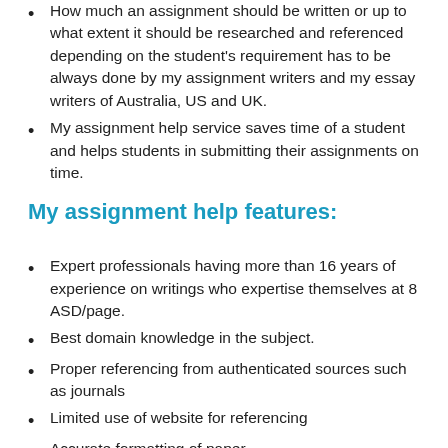How much an assignment should be written or up to what extent it should be researched and referenced depending on the student's requirement has to be always done by my assignment writers and my essay writers of Australia, US and UK.
My assignment help service saves time of a student and helps students in submitting their assignments on time.
My assignment help features:
Expert professionals having more than 16 years of experience on writings who expertise themselves at 8 ASD/page.
Best domain knowledge in the subject.
Proper referencing from authenticated sources such as journals
Limited use of website for referencing
Accurate formatting of paper
Use of Clear and simple language